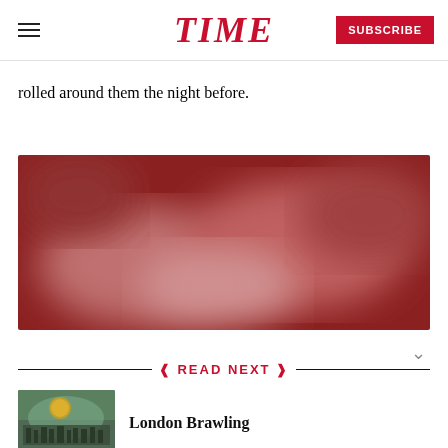TIME
rolled around them the night before.
[Figure (photo): Blurred reddish-toned crowd or scene photograph]
READ NEXT
[Figure (photo): Thumbnail of London crowd scene with large inflatable balloon]
London Brawling